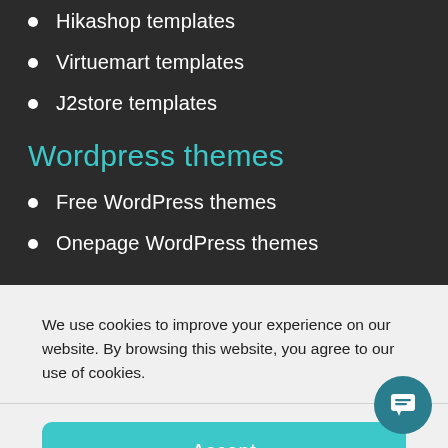Hikashop templates
Virtuemart templates
J2store templates
Wordpress themes
Free WordPress themes
Onepage WordPress themes
We use cookies to improve your experience on our website. By browsing this website, you agree to our use of cookies.
Accept
Cookie Policy